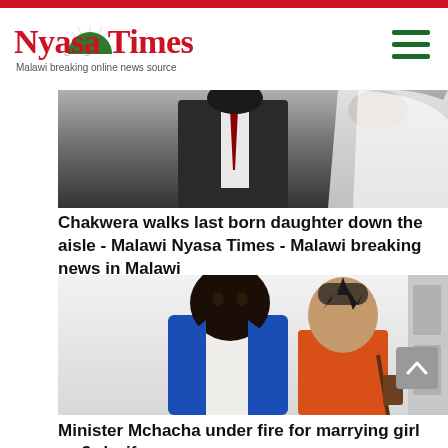Nyasa Times - Malawi breaking online news source
[Figure (photo): Wedding photo showing a man in dark suit with red tie next to a bride in white veil, partially cropped]
Chakwera walks last born daughter down the aisle - Malawi Nyasa Times - Malawi breaking news in Malawi
[Figure (photo): A couple photo: a tall dark-skinned man in a blue suit standing next to a shorter woman in an orange top with stylized hair]
Minister Mchacha under fire for marrying girl as 3rd wife